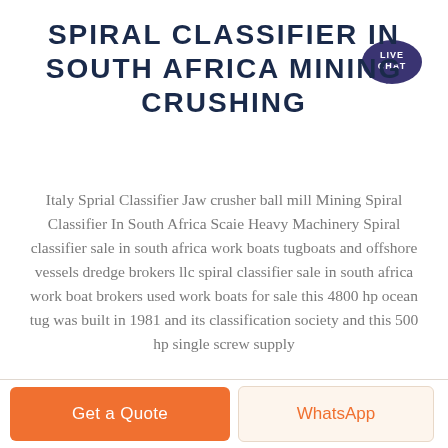SPIRAL CLASSIFIER IN SOUTH AFRICA MINING CRUSHING
[Figure (other): Live Chat speech bubble badge with purple background, text LIVE CHAT in white]
Italy Sprial Classifier Jaw crusher ball mill Mining Spiral Classifier In South Africa Scaie Heavy Machinery Spiral classifier sale in south africa work boats tugboats and offshore vessels dredge brokers llc spiral classifier sale in south africa work boat brokers used work boats for sale this 4800 hp ocean tug was built in 1981 and its classification society and this 500 hp single screw supply
Get a Quote | WhatsApp